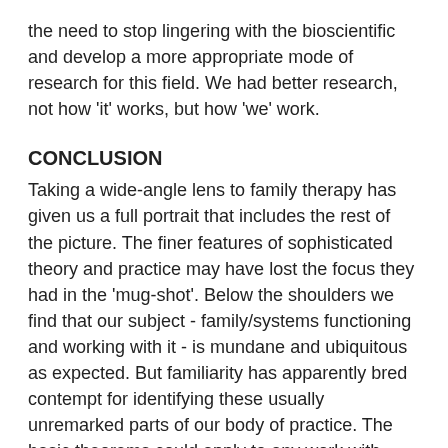the need to stop lingering with the bioscientific and develop a more appropriate mode of research for this field. We had better research, not how 'it' works, but how 'we' work.
CONCLUSION
Taking a wide-angle lens to family therapy has given us a full portrait that includes the rest of the picture. The finer features of sophisticated theory and practice may have lost the focus they had in the 'mug-shot'. Below the shoulders we find that our subject - family/systems functioning and working with it - is mundane and ubiquitous as expected. But familiarity has apparently bred contempt for identifying these usually unremarked parts of our body of practice. The basic theorems could apply to any work with human systems; and the skills gained during basic professional training are equally basic for family therapy. Family therapy may exercise these limbs more than other kinds of work, so that part of its relative muscle is built up by using what ever-